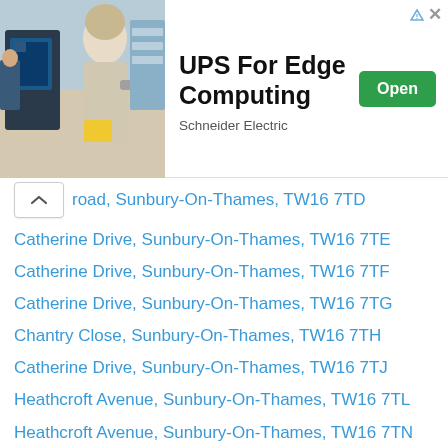[Figure (screenshot): Advertisement banner for 'UPS For Edge Computing' by Schneider Electric, showing a photo of a person scanning items in a retail/warehouse setting, with an 'Open' button and close/info icons.]
road, Sunbury-On-Thames, TW16 7TD
Catherine Drive, Sunbury-On-Thames, TW16 7TE
Catherine Drive, Sunbury-On-Thames, TW16 7TF
Catherine Drive, Sunbury-On-Thames, TW16 7TG
Chantry Close, Sunbury-On-Thames, TW16 7TH
Catherine Drive, Sunbury-On-Thames, TW16 7TJ
Heathcroft Avenue, Sunbury-On-Thames, TW16 7TL
Heathcroft Avenue, Sunbury-On-Thames, TW16 7TN
Vicarage Road, Sunbury-On-Thames, TW16 7TP
Howard Close, Sunbury-On-Thames, TW16 7TQ
Vicarage Road, Sunbury-On-Thames, TW16 7TR
Heath Grove, Sunbury-On-Thames, TW16 7TS